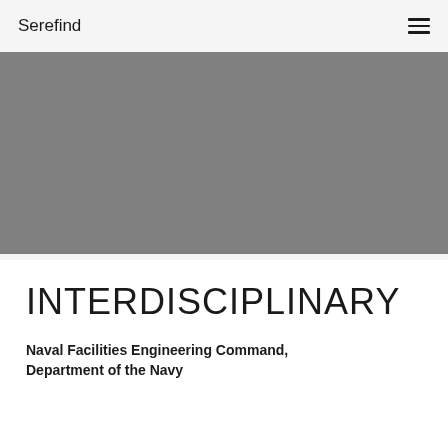Serefind
[Figure (photo): Gray rectangular hero image placeholder]
INTERDISCIPLINARY
Naval Facilities Engineering Command, Department of the Navy